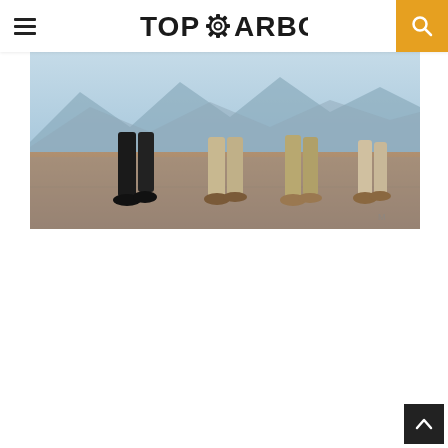TopGearbox — navigation header with logo, hamburger menu, and search button
[Figure (photo): Photo of four people's legs and feet standing on a dry desert road with mountains in the background. Taken from low angle showing boots and pants from the knees down.]